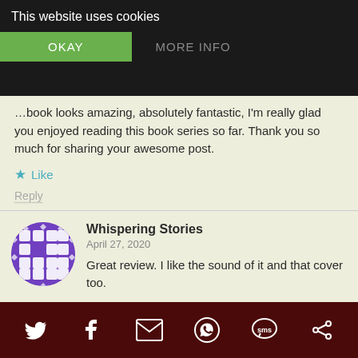[Figure (screenshot): Cookie consent banner with dark background, 'This website uses cookies' text, OKAY button in green, MORE INFO button in gray]
...book looks amazing, absolutely fantastic, I'm really glad you enjoyed reading this book series so far. Thank you so much for sharing your awesome post.
★ Like
Reply
Whispering Stories
April 27, 2020
Great review. I like the sound of it and that cover too.
★ Like
Reply
Social share icons: Twitter, Facebook, Email, WhatsApp, SMS, Other